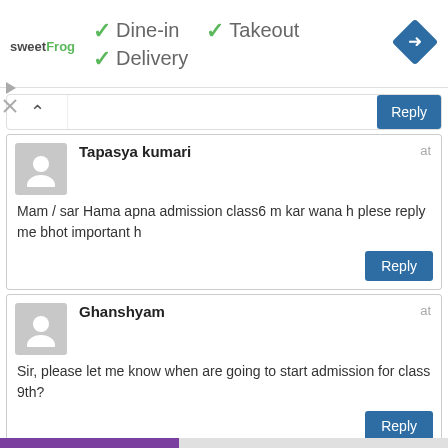[Figure (other): Ad banner: sweetFrog logo, checkmarks for Dine-in, Takeout, Delivery, navigation diamond icon]
Tapasya kumari
at
Mam / sar Hama apna admission class6 m kar wana h plese reply me bhot important h
Ghanshyam
at
Sir, please let me know when are going to start admission for class 9th?